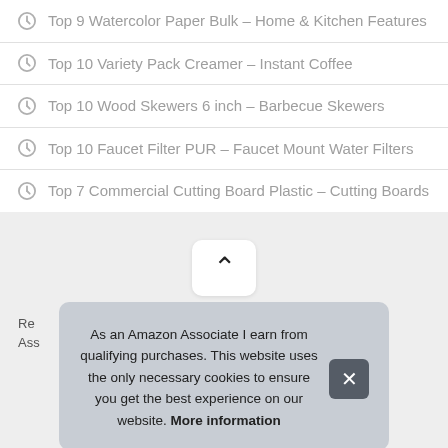Top 9 Watercolor Paper Bulk – Home & Kitchen Features
Top 10 Variety Pack Creamer – Instant Coffee
Top 10 Wood Skewers 6 inch – Barbecue Skewers
Top 10 Faucet Filter PUR – Faucet Mount Water Filters
Top 7 Commercial Cutting Board Plastic – Cutting Boards
Re
Ass
As an Amazon Associate I earn from qualifying purchases. This website uses the only necessary cookies to ensure you get the best experience on our website. More information